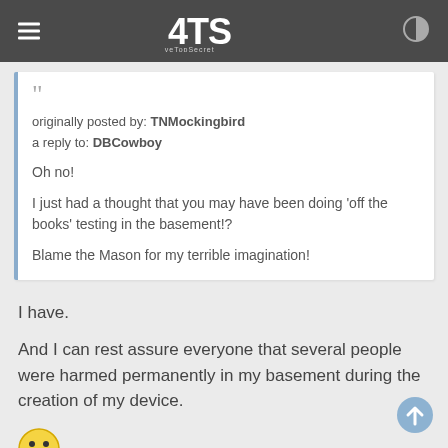ATS AboveTopSecret
originally posted by: TNMockingbird
a reply to: DBCowboy

Oh no!

I just had a thought that you may have been doing 'off the books' testing in the basement!?

Blame the Mason for my terrible imagination!
I have.
And I can rest assure everyone that several people were harmed permanently in my basement during the creation of my device.
[Figure (illustration): A small yellow smiley face emoji with fangs/devil expression]